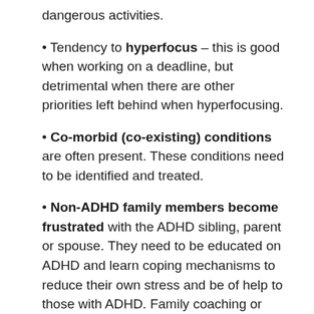dangerous activities.
• Tendency to hyperfocus – this is good when working on a deadline, but detrimental when there are other priorities left behind when hyperfocusing.
• Co-morbid (co-existing) conditions are often present. These conditions need to be identified and treated.
• Non-ADHD family members become frustrated with the ADHD sibling, parent or spouse. They need to be educated on ADHD and learn coping mechanisms to reduce their own stress and be of help to those with ADHD. Family coaching or family therapy can be helpful.